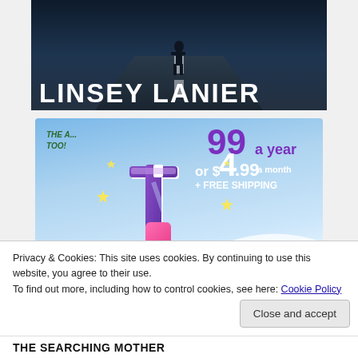[Figure (photo): Book cover image showing a person walking on a dark road with white dashed center line, night/dark atmosphere. Author name LINSEY LANIER in large white bold text at the bottom of the cover.]
[Figure (advertisement): Tumblr Ad-Free Browsing advertisement. Shows Tumblr logo (colorful 't' with sparkle stars), price options: $4.99 a month or per year with free shipping text. Blue sky background.]
Privacy & Cookies: This site uses cookies. By continuing to use this website, you agree to their use.
To find out more, including how to control cookies, see here: Cookie Policy
Close and accept
THE SEARCHING MOTHER